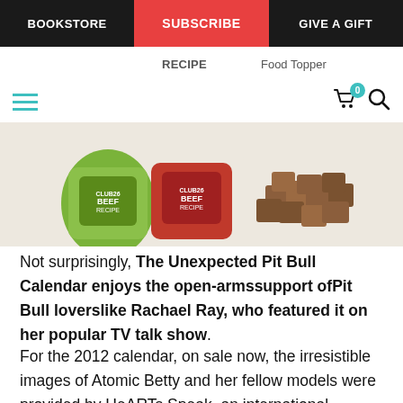BOOKSTORE | SUBSCRIBE | GIVE A GIFT
[Figure (photo): Partial view of pet food product images and text 'RECIPE Food Topper' at top, and product cans/pouches with beef recipe labels plus food cubes below]
Not surprisingly, The Unexpected Pit Bull Calendar enjoys the open-armssupport ofPit Bull loverslike Rachael Ray, who featured it on her popular TV talk show.
For the 2012 calendar, on sale now, the irresistible images of Atomic Betty and her fellow models were provided by HeARTs Speak, an international community of artists working to improve the lives of